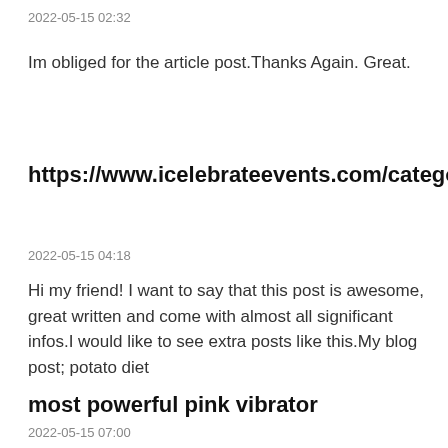2022-05-15 02:32
Im obliged for the article post.Thanks Again. Great.
https://www.icelebrateevents.com/category/audio_visual_services/
2022-05-15 04:18
Hi my friend! I want to say that this post is awesome, great written and come with almost all significant infos.I would like to see extra posts like this.My blog post; potato diet
most powerful pink vibrator
2022-05-15 07:00